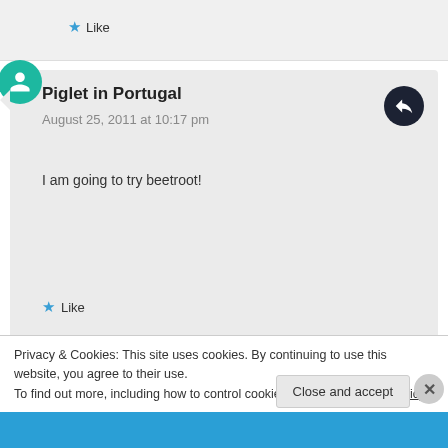★ Like
Piglet in Portugal
August 25, 2011 at 10:17 pm

I am going to try beetroot!

★ Like
jeanne
August 25, 2011 at 1:48 am
Privacy & Cookies: This site uses cookies. By continuing to use this website, you agree to their use.
To find out more, including how to control cookies, see here: Cookie Policy
Close and accept